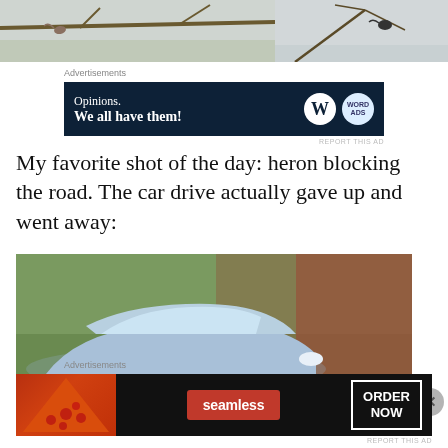[Figure (photo): Two side-by-side cropped nature photos showing birds in bare tree branches against a light sky]
Advertisements
[Figure (other): Advertisement banner with dark navy background reading 'Opinions. We all have them!' with WordPress and WordAds logos]
My favorite shot of the day: heron blocking the road. The car drive actually gave up and went away:
[Figure (photo): Photo of a silver/grey car stopped in front of dense green and red autumn foliage on a roadside]
Advertisements
[Figure (other): Seamless food delivery advertisement showing pizza, Seamless logo, and ORDER NOW button]